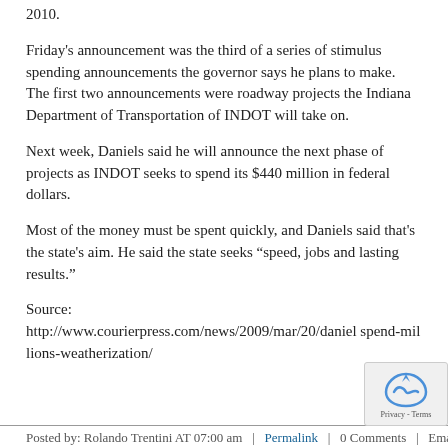2010.
Friday's announcement was the third of a series of stimulus spending announcements the governor says he plans to make. The first two announcements were roadway projects the Indiana Department of Transportation of INDOT will take on.
Next week, Daniels said he will announce the next phase of projects as INDOT seeks to spend its $440 million in federal dollars.
Most of the money must be spent quickly, and Daniels said that's the state's aim. He said the state seeks “speed, jobs and lasting results.”
Source: http://www.courierpress.com/news/2009/mar/20/daniel spend-millions-weatherization/
Posted by: Rolando Trentini AT 07:00 am  |  Permalink  |  0 Comments  |  Email